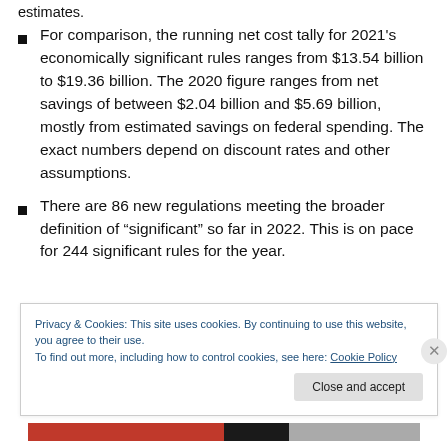For comparison, the running net cost tally for 2021's economically significant rules ranges from $13.54 billion to $19.36 billion. The 2020 figure ranges from net savings of between $2.04 billion and $5.69 billion, mostly from estimated savings on federal spending. The exact numbers depend on discount rates and other assumptions.
There are 86 new regulations meeting the broader definition of “significant” so far in 2022. This is on pace for 244 significant rules for the year.
Privacy & Cookies: This site uses cookies. By continuing to use this website, you agree to their use.
To find out more, including how to control cookies, see here: Cookie Policy
Close and accept